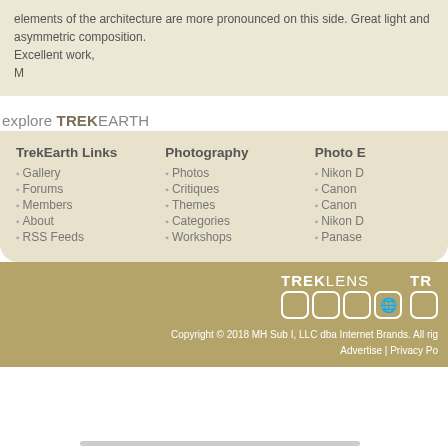elements of the architecture are more pronounced on this side. Great light and asymmetric composition.
Excellent work,
M
explore TREKEARTH
TrekEarth Links: Gallery, Forums, Members, About, RSS Feeds
Photography: Photos, Critiques, Themes, Categories, Workshops
Photo E[quipment]: Nikon [D...], Canon [...], Canon [...], Nikon [...], Panase[onic...]
Copyright © 2018 MH Sub I, LLC dba Internet Brands. All rights reserved. Advertise | Privacy Po[licy]